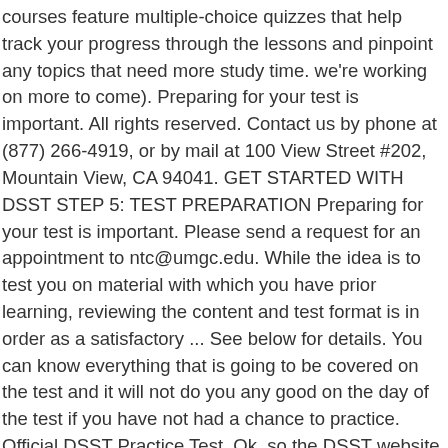courses feature multiple-choice quizzes that help track your progress through the lessons and pinpoint any topics that need more study time. we're working on more to come). Preparing for your test is important. All rights reserved. Contact us by phone at (877) 266-4919, or by mail at 100 View Street #202, Mountain View, CA 94041. GET STARTED WITH DSST STEP 5: TEST PREPARATION Preparing for your test is important. Please send a request for an appointment to ntc@umgc.edu. While the idea is to test you on material with which you have prior learning, reviewing the content and test format is in order as a satisfactory ... See below for details. You can know everything that is going to be covered on the test and it will not do you any good on the day of the test if you have not had a chance to practice. Official DSST Practice Test. Ok, so the DSST website isn't the most inviting, but it will give you the best approximation of the real exam experience. I've looked online and I can't find any post-2009 practice tests. practice DSST tests are truly great resources, even when they used to cost money. But I did it with